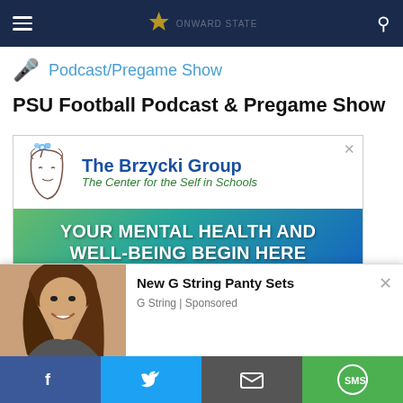Navbar with hamburger menu, logo, and search icon
Podcast/Pregame Show
PSU Football Podcast & Pregame Show
[Figure (advertisement): The Brzycki Group - The Center for the Self in Schools advertisement banner. Shows a line-art face with a flower, blue heading 'The Brzycki Group', green italic tagline 'The Center for the Self in Schools', a gradient green-blue band reading 'YOUR MENTAL HEALTH AND WELL-BEING BEGIN HERE', and a blue footer 'Find Your Happiness and Meaning in Life'.]
[Figure (advertisement): Overlay advertisement: 'New G String Panty Sets' from G String | Sponsored, with a photo of a smiling woman.]
Share bar with Facebook, Twitter, Email, SMS buttons